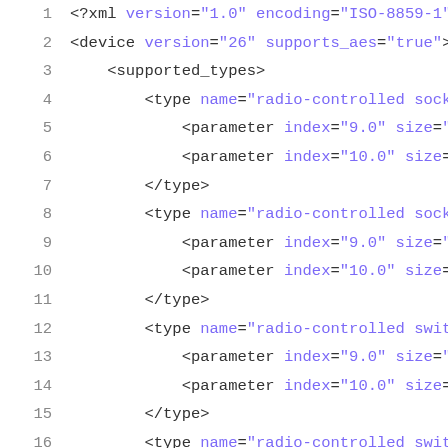Code listing showing XML device configuration with lines 1-23
1  <?xml version="1.0" encoding="ISO-8859-1"?>
2  <device version="26" supports_aes="true">
3    <supported_types>
4      <type name="radio-controlled socket adapter s
5        <parameter index="9.0" size="1.0" cond_op="
6        <parameter index="10.0" size="2.0" const_va
7      </type>
8      <type name="radio-controlled socket adapter s
9        <parameter index="9.0" size="1.0" cond_op="
10        <parameter index="10.0" size="2.0" const_va
11      </type>
12      <type name="radio-controlled switch actuator
13        <parameter index="9.0" size="1.0" cond_op="
14        <parameter index="10.0" size="2.0" const_va
15      </type>
16      <type name="radio-controlled switch actuator
17        <parameter index="9.0" size="1.0" cond_op="
18        <parameter index="10.0" size="2.0" const_va
19      </type>
20      <type name="radio-controlled switch actuator
21        <parameter index="9.0" size="1.0" cond_op="
22        <parameter index="9.0" size="1.0" cond_op="
23        <parameter index="10.0" size="2.0" const_va